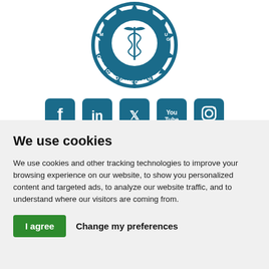[Figure (logo): Circular blue seal/logo of American College of Medicine with caduceus symbol in center and text around the border]
[Figure (infographic): Row of five social media icons: Facebook, LinkedIn, Twitter, YouTube, Instagram — all in teal/blue color on rounded square backgrounds]
We use cookies
We use cookies and other tracking technologies to improve your browsing experience on our website, to show you personalized content and targeted ads, to analyze our website traffic, and to understand where our visitors are coming from.
I agree | Change my preferences